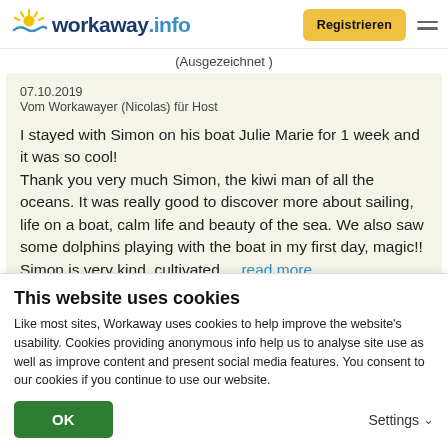workaway.info | Registrieren
(Ausgezeichnet)
07.10.2019
Vom Workawayer (Nicolas) für Host

I stayed with Simon on his boat Julie Marie for 1 week and it was so cool!
Thank you very much Simon, the kiwi man of all the oceans. It was really good to discover more about sailing, life on a boat, calm life and beauty of the sea. We also saw some dolphins playing with the boat in my first day, magic!! Simon is very kind, cultivated,... read more
This website uses cookies
Like most sites, Workaway uses cookies to help improve the website's usability. Cookies providing anonymous info help us to analyse site use as well as improve content and present social media features.  You consent to our cookies if you continue to use our website.
OK
Settings